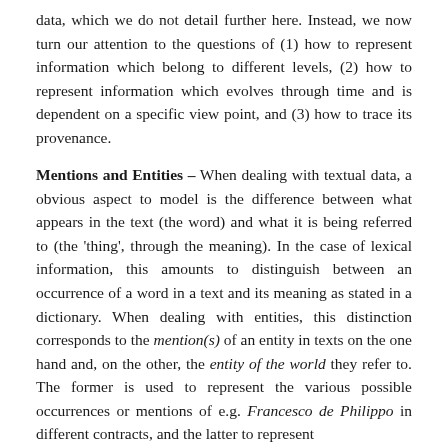data, which we do not detail further here. Instead, we now turn our attention to the questions of (1) how to represent information which belong to different levels, (2) how to represent information which evolves through time and is dependent on a specific view point, and (3) how to trace its provenance.
Mentions and Entities – When dealing with textual data, a obvious aspect to model is the difference between what appears in the text (the word) and what it is being referred to (the 'thing', through the meaning). In the case of lexical information, this amounts to distinguish between an occurrence of a word in a text and its meaning as stated in a dictionary. When dealing with entities, this distinction corresponds to the mention(s) of an entity in texts on the one hand and, on the other, the entity of the world they refer to. The former is used to represent the various possible occurrences or mentions of e.g. Francesco de Philippo in different contracts, and the latter to represent